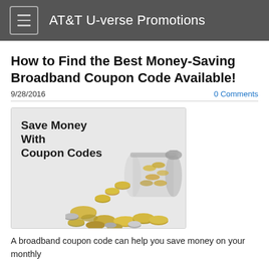AT&T U-verse Promotions
How to Find the Best Money-Saving Broadband Coupon Code Available!
9/28/2016
0 Comments
[Figure (photo): Illustration showing a glass jar tipped over with coins spilling out, with bold text reading 'Save Money With Coupon Codes']
A broadband coupon code can help you save money on your monthly